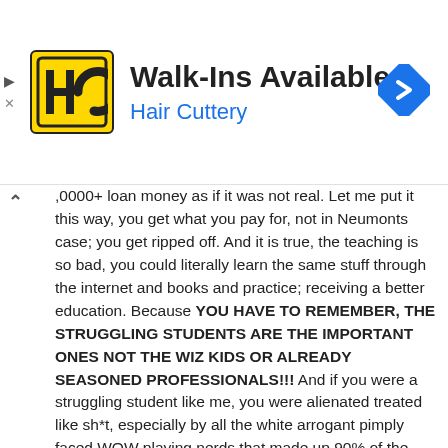[Figure (screenshot): Hair Cuttery advertisement banner with yellow HC logo, 'Walk-Ins Available' headline, 'Hair Cuttery' in blue subtext, and a blue diamond-shaped navigation icon on the right.]
,0000+ loan money as if it was not real. Let me put it this way, you get what you pay for, not in Neumonts case; you get ripped off. And it is true, the teaching is so bad, you could literally learn the same stuff through the internet and books and practice; receiving a better education. Because YOU HAVE TO REMEMBER, THE STRUGGLING STUDENTS ARE THE IMPORTANT ONES NOT THE WIZ KIDS OR ALREADY SEASONED PROFESSIONALS!!! And if you were a struggling student like me, you were alienated treated like sh*t, especially by all the white arrogant pimply faced WOW playing nerds that made up 90% of the school. The projects classes consisted of you forming into teams with other students is a nightmare. You all grade each other, not the instructor, so guess what, if you have a